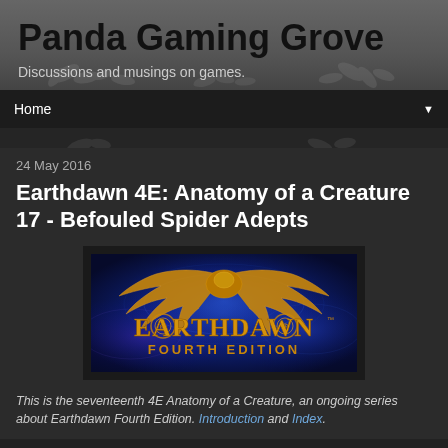Panda Gaming Grove
Discussions and musings on games.
Home
24 May 2016
Earthdawn 4E: Anatomy of a Creature 17 - Befouled Spider Adepts
[Figure (logo): Earthdawn Fourth Edition logo with golden phoenix/eagle on blue mystical background]
This is the seventeenth 4E Anatomy of a Creature, an ongoing series about Earthdawn Fourth Edition. Introduction and Index.